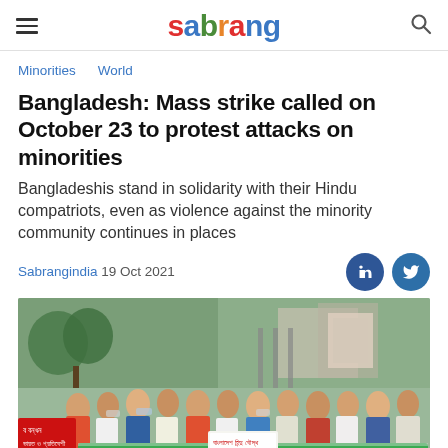sabrang (logo) | hamburger menu | search icon
Minorities
World
Bangladesh: Mass strike called on October 23 to protest attacks on minorities
Bangladeshis stand in solidarity with their Hindu compatriots, even as violence against the minority community continues in places
Sabrangindia 19 Oct 2021
[Figure (photo): Crowd of protesters gathered on a street holding green and white banners with Bengali text, some wearing face masks, trees and buildings visible in background]